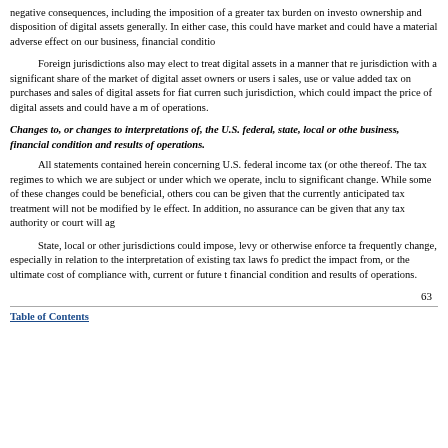negative consequences, including the imposition of a greater tax burden on investors or in the ownership and disposition of digital assets generally. In either case, this could have an effect on the market and could have a material adverse effect on our business, financial condition and results of operations.
Foreign jurisdictions also may elect to treat digital assets in a manner that results in any such jurisdiction with a significant share of the market of digital asset owners or users imposing a sales, use or value added tax on purchases and sales of digital assets for fiat currencies or other digital assets in such jurisdiction, which could impact the price of digital assets and could have a material adverse effect on our results of operations.
Changes to, or changes to interpretations of, the U.S. federal, state, local or other tax laws could adversely affect our business, financial condition and results of operations.
All statements contained herein concerning U.S. federal income tax (or other tax) consequences are based on existing law and interpretations thereof. The tax regimes to which we are subject or under which we operate, including income and non-income taxes, are subject to significant change. While some of these changes could be beneficial, others could be adverse, and no assurance can be given that the currently anticipated tax treatment will not be modified by legislative, administrative, or judicial action that may have retroactive effect. In addition, no assurance can be given that any tax authority or court will agree with our tax positions.
State, local or other jurisdictions could impose, levy or otherwise enforce tax obligations on us. Tax laws and regulations frequently change, especially in relation to the interpretation of existing tax laws for new and emerging industries. We are unable to predict the impact from, or the ultimate cost of compliance with, current or future tax regulations that could adversely affect our financial condition and results of operations.
63
Table of Contents